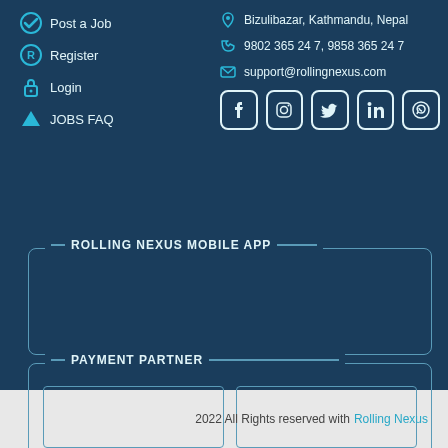Post a Job
Register
Login
JOBS FAQ
Bizulibazar, Kathmandu, Nepal
9802 365 24 7, 9858 365 24 7
support@rollingnexus.com
[Figure (other): Social media icons: Facebook, Instagram, Twitter, LinkedIn, WhatsApp]
ROLLING NEXUS MOBILE APP
PAYMENT PARTNER
[Figure (other): Two empty payment partner image placeholders]
2022 All Rights reserved with Rolling Nexus